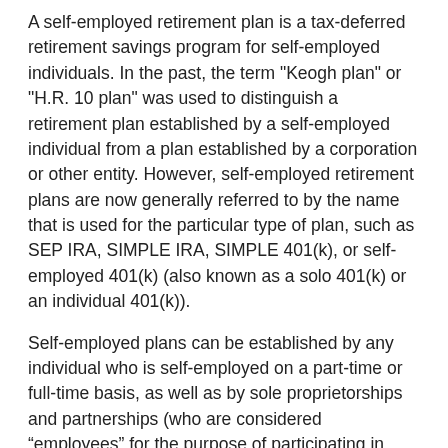A self-employed retirement plan is a tax-deferred retirement savings program for self-employed individuals. In the past, the term "Keogh plan" or "H.R. 10 plan" was used to distinguish a retirement plan established by a self-employed individual from a plan established by a corporation or other entity. However, self-employed retirement plans are now generally referred to by the name that is used for the particular type of plan, such as SEP IRA, SIMPLE IRA, SIMPLE 401(k), or self-employed 401(k) (also known as a solo 401(k) or an individual 401(k)).
Self-employed plans can be established by any individual who is self-employed on a part-time or full-time basis, as well as by sole proprietorships and partnerships (who are considered “employees” for the purpose of participating in these plans).
Unlike IRAs, which limit tax-deductible contributions to $6,000 per year in 2022, self-employed plans allow you to save as much as $61,000 of your net self-employment income in 2022, depending on the type of self-employed plan you adopt.
Contributions to a self-employed plan may be tax deductible up to certain limits. These contributions, along with any gains